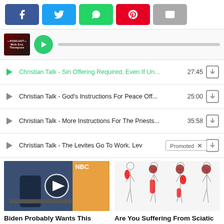[Figure (screenshot): Social share buttons: Facebook (blue), Twitter (cyan), WhatsApp (green), Pinterest (red), Email (gray)]
[Figure (screenshot): Podcast player row with thumbnail, green play button, and progress bar]
Christian Talk - Sin Offering Required, Even If Un... 27:45
Christian Talk - God's Instructions For Peace Off... 25:00
Christian Talk - More Instructions For The Priests... 35:58
Christian Talk - The Levites Go To Work. Lev  [Promoted]
[Figure (photo): Video thumbnail showing man in suit at financial news desk with play button overlay]
Biden Probably Wants This Video Destroyed — US Dollar On Path Towards Replacement?
174,598
[Figure (illustration): Medical illustration showing human body outlines with red areas indicating sciatic nerve pain regions]
Are You Suffering From Sciatic Nerve Pain? Find Out Why
7,567